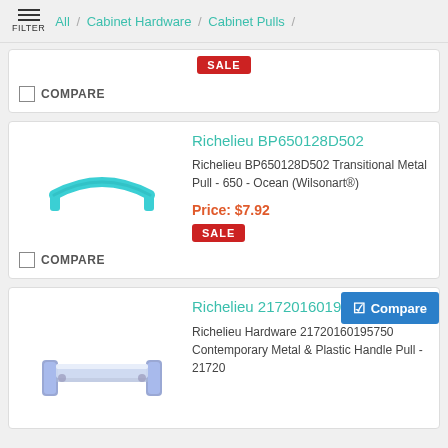FILTER / All / Cabinet Hardware / Cabinet Pulls /
SALE
COMPARE
Richelieu BP650128D502
Richelieu BP650128D502 Transitional Metal Pull - 650 - Ocean (Wilsonart®)
Price: $7.92
SALE
COMPARE
Richelieu 2172016019
Richelieu Hardware 21720160195750 Contemporary Metal & Plastic Handle Pull - 21720
Compare